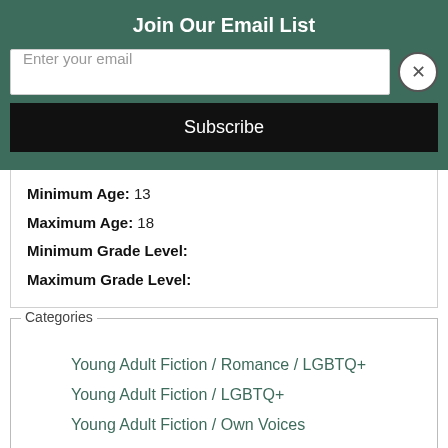Join Our Email List
Enter your email
Subscribe
Minimum Age: 13
Maximum Age: 18
Minimum Grade Level:
Maximum Grade Level:
Categories
Young Adult Fiction / Romance / LGBTQ+
Young Adult Fiction / LGBTQ+
Young Adult Fiction / Own Voices
Related Editions (all)